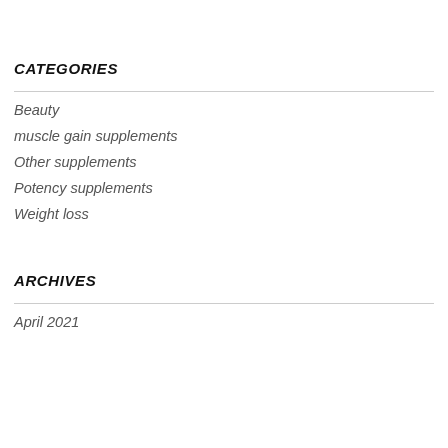CATEGORIES
Beauty
muscle gain supplements
Other supplements
Potency supplements
Weight loss
ARCHIVES
April 2021